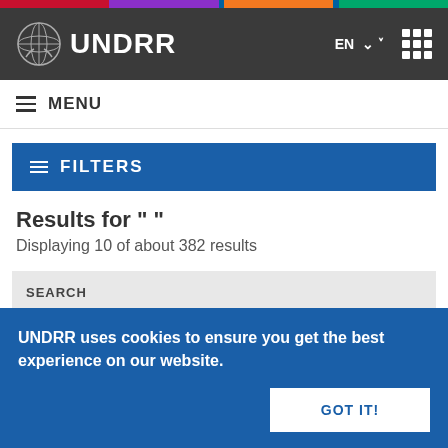[Figure (screenshot): UNDRR website screenshot showing header with UN logo and UNDRR wordmark on dark background, colorful top bar, menu, filters, and search results page]
UNDRR
≡ MENU
≡ FILTERS
Results for " "
Displaying 10 of about 382 results
SEARCH
UNDRR uses cookies to ensure you get the best experience on our website.
GOT IT!